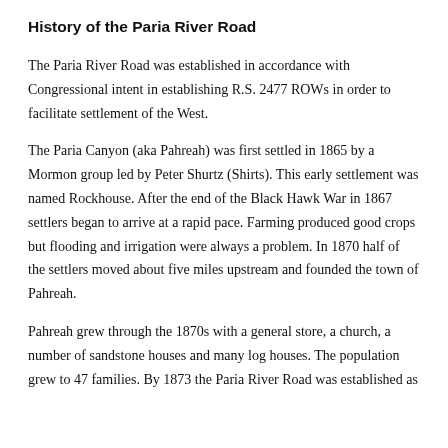History of the Paria River Road
The Paria River Road was established in accordance with Congressional intent in establishing R.S. 2477 ROWs in order to facilitate settlement of the West.
The Paria Canyon (aka Pahreah) was first settled in 1865 by a Mormon group led by Peter Shurtz (Shirts). This early settlement was named Rockhouse. After the end of the Black Hawk War in 1867 settlers began to arrive at a rapid pace. Farming produced good crops but flooding and irrigation were always a problem. In 1870 half of the settlers moved about five miles upstream and founded the town of Pahreah.
Pahreah grew through the 1870s with a general store, a church, a number of sandstone houses and many log houses. The population grew to 47 families. By 1873 the Paria River Road was established as